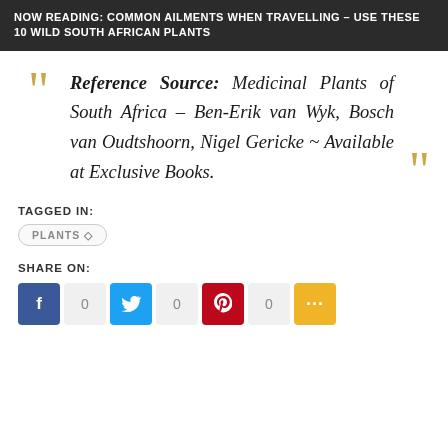NOW READING: COMMON AILMENTS WHEN TRAVELLING – USE THESE 10 WILD SOUTH AFRICAN PLANTS
Reference Source: Medicinal Plants of South Africa – Ben-Erik van Wyk, Bosch van Oudtshoorn, Nigel Gericke ~ Available at Exclusive Books.
TAGGED IN:
PLANTS
SHARE ON: